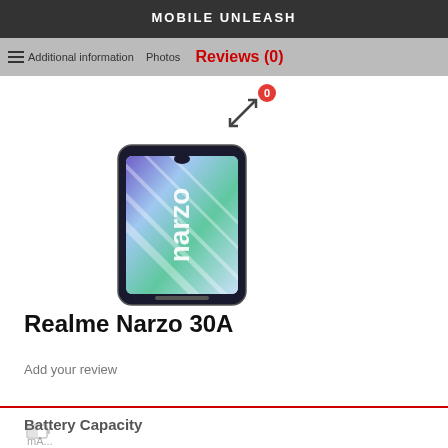MOBILE UNLEASH
Additional information   Photos   Reviews (0)
[Figure (photo): Realme Narzo 30A smartphone product photo displayed vertically with brand name 'narzo' written vertically on the screen]
Realme Narzo 30A
Add your review
Battery Capacity